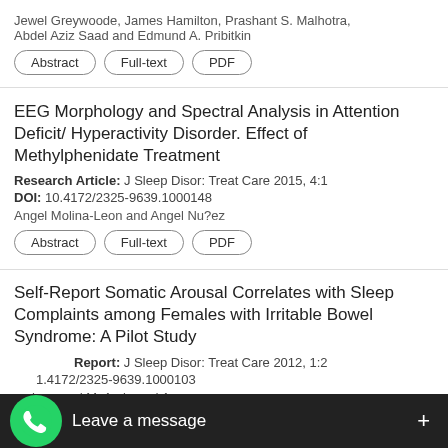Jewel Greywoode, James Hamilton, Prashant S. Malhotra, Abdel Aziz Saad and Edmund A. Pribitkin
Abstract | Full-text | PDF
EEG Morphology and Spectral Analysis in Attention Deficit/ Hyperactivity Disorder. Effect of Methylphenidate Treatment
Research Article: J Sleep Disor: Treat Care 2015, 4:1
DOI: 10.4172/2325-9639.1000148
Angel Molina-Leon and Angel Nu?ez
Abstract | Full-text | PDF
Self-Report Somatic Arousal Correlates with Sleep Complaints among Females with Irritable Bowel Syndrome: A Pilot Study
Report: J Sleep Disor: Treat Care 2012, 1:2
DOI: 10.4172/2325-9639.1000103
...ohammad M. Amin and Avra...
[Figure (screenshot): WhatsApp 'Leave a message' overlay bar at bottom of screen with green WhatsApp phone icon and plus button]